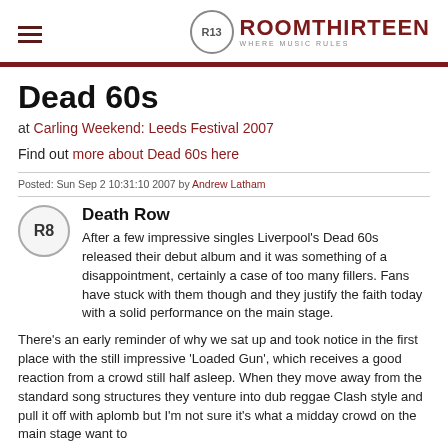ROOMTHIRTEEN — WHERE MUSIC RULES
Dead 60s
at Carling Weekend: Leeds Festival 2007
Find out more about Dead 60s here
Posted: Sun Sep 2 10:31:10 2007 by Andrew Latham
Death Row
After a few impressive singles Liverpool's Dead 60s released their debut album and it was something of a disappointment, certainly a case of too many fillers. Fans have stuck with them though and they justify the faith today with a solid performance on the main stage.
There's an early reminder of why we sat up and took notice in the first place with the still impressive 'Loaded Gun', which receives a good reaction from a crowd still half asleep. When they move away from the standard song structures they venture into dub reggae Clash style and pull it off with aplomb but I'm not sure it's what a midday crowd on the main stage want to